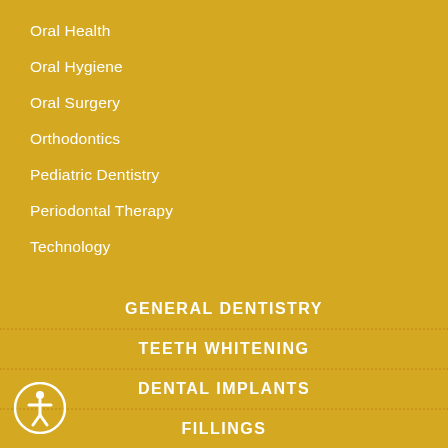Oral Health
Oral Hygiene
Oral Surgery
Orthodontics
Pediatric Dentistry
Periodontal Therapy
Technology
GENERAL DENTISTRY
TEETH WHITENING
DENTAL IMPLANTS
FILLINGS